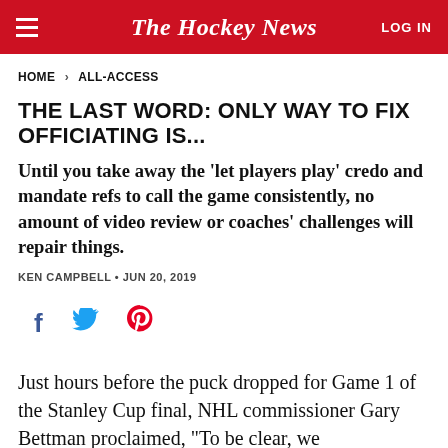The Hockey News | LOG IN
HOME > ALL-ACCESS
THE LAST WORD: ONLY WAY TO FIX OFFICIATING IS...
Until you take away the ‘let players play’ credo and mandate refs to call the game consistently, no amount of video review or coaches’ challenges will repair things.
KEN CAMPBELL • JUN 20, 2019
[Figure (infographic): Social share icons: Facebook, Twitter, Pinterest]
Just hours before the puck dropped for Game 1 of the Stanley Cup final, NHL commissioner Gary Bettman proclaimed, “To be clear, we